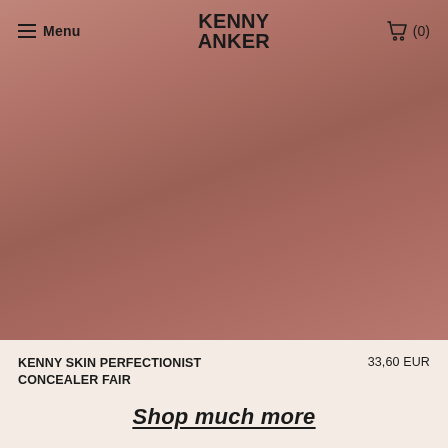≡ Menu | KENNY ANKER | 🛒 (0)
[Figure (photo): Product hero image with mauve/terracotta gradient background, featuring Kenny Anker branding navigation bar at the top with menu, logo, and cart]
KENNY SKIN PERFECTIONIST CONCEALER FAIR
33,60 EUR
Shop much more